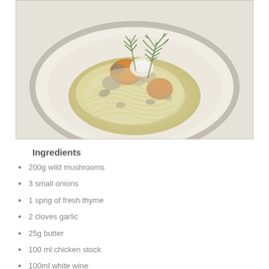[Figure (photo): A restaurant-style pasta dish in a white bowl — creamy tagliatelle topped with sautéed wild mushrooms and garnished with fresh herbs (fennel fronds/dill), served on a white plate.]
Ingredients
200g wild mushrooms
3 small onions
1 sprig of fresh thyme
2 cloves garlic
25g butter
100 ml chicken stock
100ml white wine